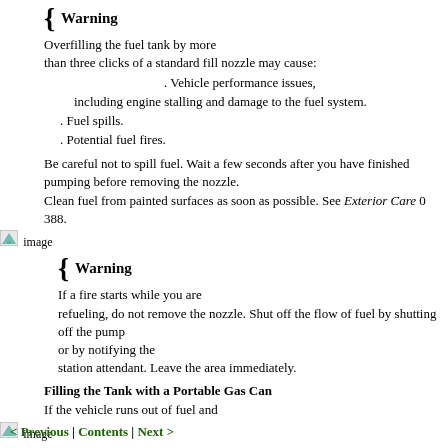{ Warning
Overfilling the fuel tank by more than three clicks of a standard fill nozzle may cause:
. Vehicle performance issues, including engine stalling and damage to the fuel system.
. Fuel spills.
. Potential fuel fires.
Be careful not to spill fuel. Wait a few seconds after you have finished pumping before removing the nozzle.
Clean fuel from painted surfaces as soon as possible. See Exterior Care 0 388.
[Figure (illustration): Small warning/image icon placeholder]
{ Warning
If a fire starts while you are refueling, do not remove the nozzle. Shut off the flow of fuel by shutting off the pump or by notifying the station attendant. Leave the area immediately.
Filling the Tank with a Portable Gas Can
If the vehicle runs out of fuel and
[Figure (illustration): Small image icon placeholder]
must be filled from a portable gas can:
[Figure (illustration): Small image icon placeholder]
[Figure (illustration): Small image icon placeholder]
< Previous | Contents | Next >